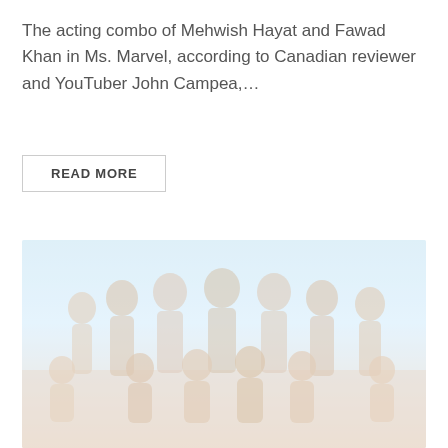The acting combo of Mehwish Hayat and Fawad Khan in Ms. Marvel, according to Canadian reviewer and YouTuber John Campea,...
[Figure (photo): A faded/washed-out group photo of many people (approximately 15-20 individuals, men and women) posed together outdoors with a light blue sky background. The image has a very light, bleached appearance.]